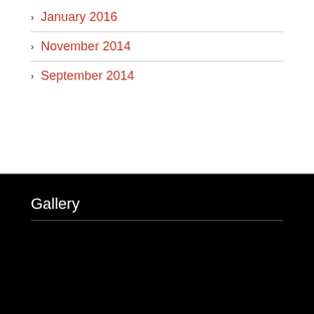January 2016
November 2014
September 2014
Gallery
[Figure (photo): Photo from International IP Skills Summit 2017, September 7th & 8th 2017, Shangri-La, Bengaluru. Shows a banner with logos including Krishna Saurastri, IUPSS circle logo, Silver Sponsor Minesoft, Kit Sponsors. A person is visible at the bottom.]